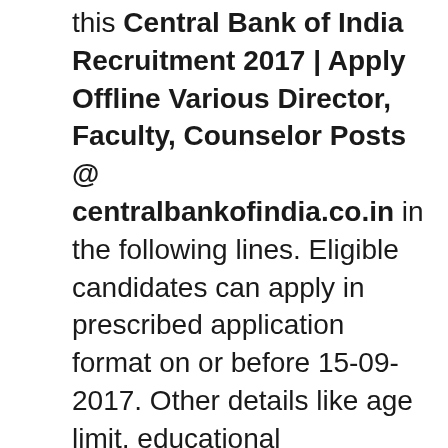this Central Bank of India Recruitment 2017 | Apply Offline Various Director, Faculty, Counselor Posts @ centralbankofindia.co.in in the following lines. Eligible candidates can apply in prescribed application format on or before 15-09-2017. Other details like age limit, educational qualification, how to apply are given below ..